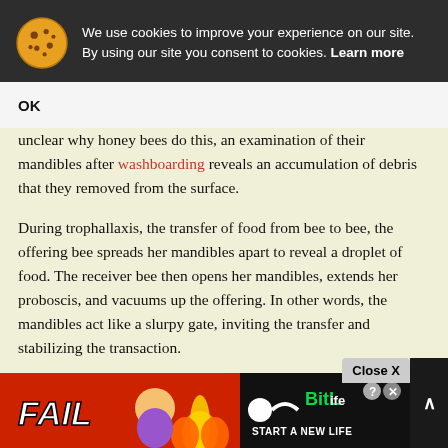We use cookies to improve your experience on our site. By using our site you consent to cookies. Learn more
OK
unclear why honey bees do this, an examination of their mandibles after washboarding reveals an accumulation of debris that they removed from the surface.
During trophallaxis, the transfer of food from bee to bee, the offering bee spreads her mandibles apart to reveal a droplet of food. The receiver bee then opens her mandibles, extends her proboscis, and vacuums up the offering. In other words, the mandibles act like a slurpy gate, inviting the transfer and stabilizing the transaction.
Trash removal is another chore for the mandibles. Undertaker bees remove the dead, hauling the out of the hive a and can r
[Figure (screenshot): Advertisement banner with BitLife game ad showing 'FAIL' text, cartoon character, flames, and 'START A NEW LIFE' text with a Close X button]